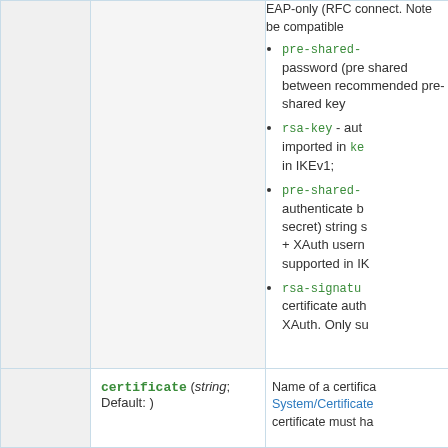pre-shared- password (pre-shared between recommended pre-shared key
rsa-key - authenticate using RSA key imported in ke... in IKEv1;
pre-shared- authenticate b... secret) string s... + XAuth usern... supported in IK...
rsa-signatu... certificate auth... XAuth. Only su...
|  | certificate (string; Default: ) | Name of a certifica... System/Certificate certificate must ha... |
| --- | --- | --- |